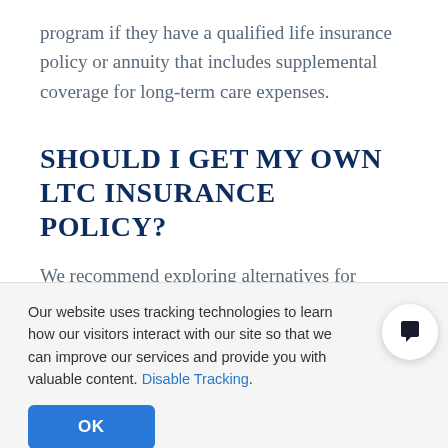program if they have a qualified life insurance policy or annuity that includes supplemental coverage for long-term care expenses.
SHOULD I GET MY OWN LTC INSURANCE POLICY?
We recommend exploring alternatives for
Our website uses tracking technologies to learn how our visitors interact with our site so that we can improve our services and provide you with valuable content. Disable Tracking.
OK